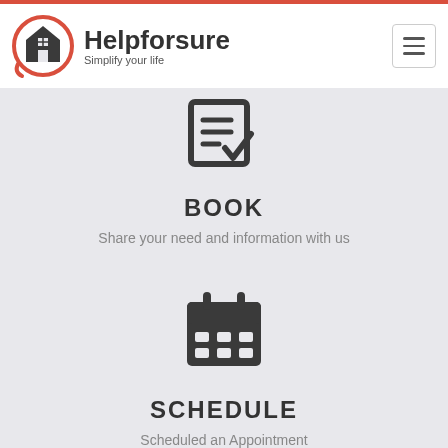Helpforsure – Simplify your life
[Figure (illustration): Checklist with checkmark icon in dark grey]
BOOK
Share your need and information with us
[Figure (illustration): Calendar icon in dark grey]
SCHEDULE
Scheduled an Appointment